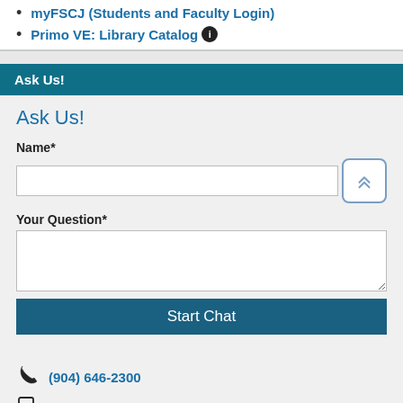myFSCJ (Students and Faculty Login)
Primo VE: Library Catalog ℹ
Ask Us!
Ask Us!
Name*
Your Question*
Start Chat
(904) 646-2300
(904) 674-3856
Submit a Question